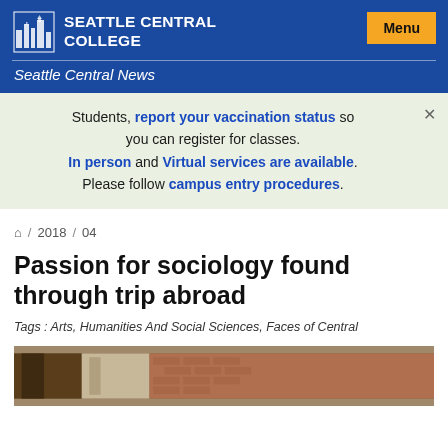SEATTLE CENTRAL COLLEGE | Seattle Central News | Menu
Students, report your vaccination status so you can register for classes. In person and Virtual services are available. Please follow campus entry procedures.
🏠 / 2018 / 04
Passion for sociology found through trip abroad
Tags : Arts, Humanities And Social Sciences, Faces of Central
[Figure (photo): Partial view of a building exterior with trees and brick wall, bottom of the page]